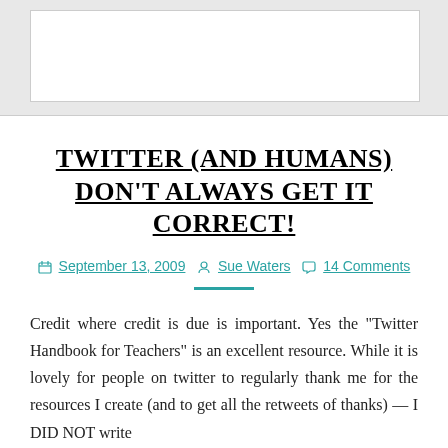TWITTER (AND HUMANS) DON'T ALWAYS GET IT CORRECT!
September 13, 2009  Sue Waters  14 Comments
Credit where credit is due is important. Yes the “Twitter Handbook for Teachers” is an excellent resource. While it is lovely for people on twitter to regularly thank me for the resources I create (and to get all the retweets of thanks) — I DID NOT write